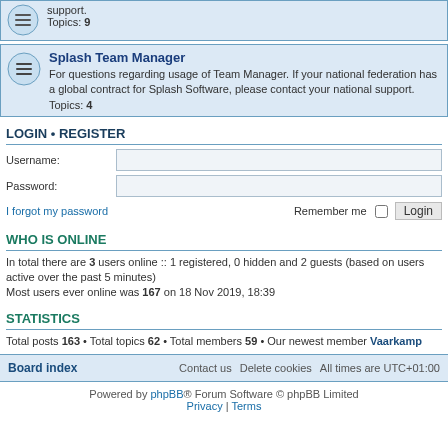support.
Topics: 9
Splash Team Manager
For questions regarding usage of Team Manager. If your national federation has a global contract for Splash Software, please contact your national support.
Topics: 4
LOGIN • REGISTER
Username:
Password:
I forgot my password
Remember me  Login
WHO IS ONLINE
In total there are 3 users online :: 1 registered, 0 hidden and 2 guests (based on users active over the past 5 minutes)
Most users ever online was 167 on 18 Nov 2019, 18:39
STATISTICS
Total posts 163 • Total topics 62 • Total members 59 • Our newest member Vaarkamp
Board index   Contact us   Delete cookies   All times are UTC+01:00
Powered by phpBB® Forum Software © phpBB Limited
Privacy | Terms